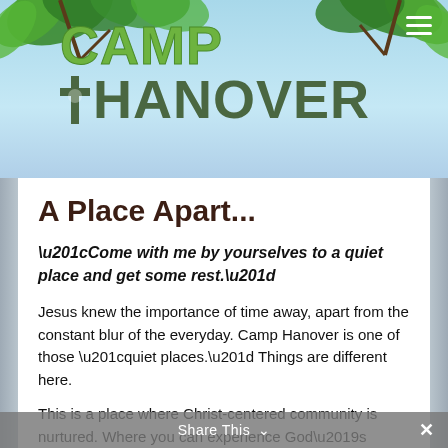[Figure (logo): Camp Hanover logo with green 'CAMP' text and dark olive 'HANOVER' text with a cross icon, set against a light blue sky background with green leaf foliage decoration at top]
A Place Apart...
“Come with me by yourselves to a quiet place and get some rest.”
Jesus knew the importance of time away, apart from the constant blur of the everyday. Camp Hanover is one of those “quiet places.” Things are different here.
This is a place where Christ-centered community is nurtured. Where you can experience God’s presence in the natural world. And where central Virginians have a unique
Share This ⌄